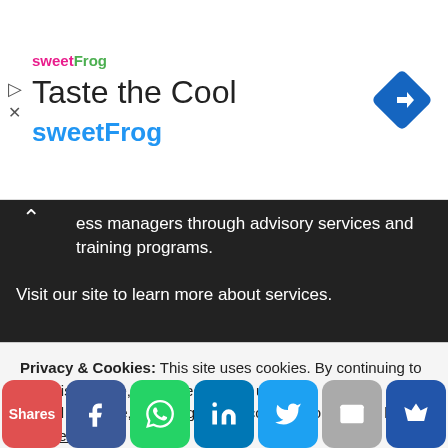[Figure (advertisement): sweetFrog 'Taste the Cool' advertisement banner with logo, title text, and navigation diamond icon]
ess managers through advisory services and training programs.
Visit our site to learn more about services.
TOP POSTS
10 Investment Opportunities in the New Geeking...
Privacy & Cookies: This site uses cookies. By continuing to use this website, you agree to their use.
To find out more, including how to control cookies, see here: Cookie Policy